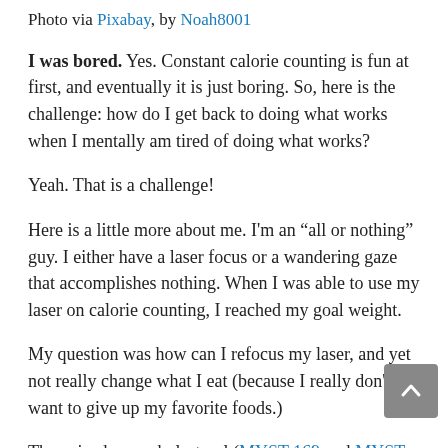Photo via Pixabay, by Noah8001
I was bored. Yes. Constant calorie counting is fun at first, and eventually it is just boring. So, here is the challenge: how do I get back to doing what works when I mentally am tired of doing what works?
Yeah. That is a challenge!
Here is a little more about me. I'm an “all or nothing” guy. I either have a laser focus or a wandering gaze that accomplishes nothing. When I was able to use my laser on calorie counting, I reached my goal weight.
My question was how can I refocus my laser, and yet not really change what I eat (because I really don't want to give up my favorite foods.)
The episodes on cholesterol (MYST 169 and MYST 170) triggered some thinking. My cholesterol numbers are